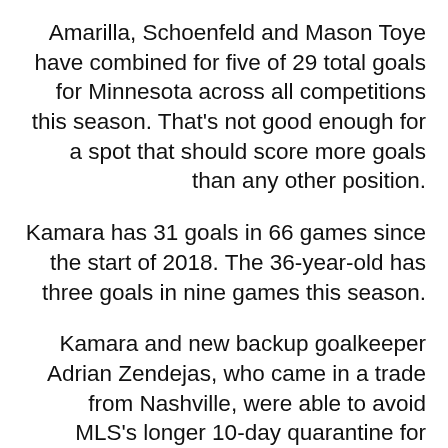Amarilla, Schoenfeld and Mason Toye have combined for five of 29 total goals for Minnesota across all competitions this season. That's not good enough for a spot that should score more goals than any other position.
Kamara has 31 goals in 66 games since the start of 2018. The 36-year-old has three goals in nine games this season.
Kamara and new backup goalkeeper Adrian Zendejas, who came in a trade from Nashville, were able to avoid MLS's longer 10-day quarantine for COVID-19 because they drove vehicles to Minnesota instead of traveling by air.